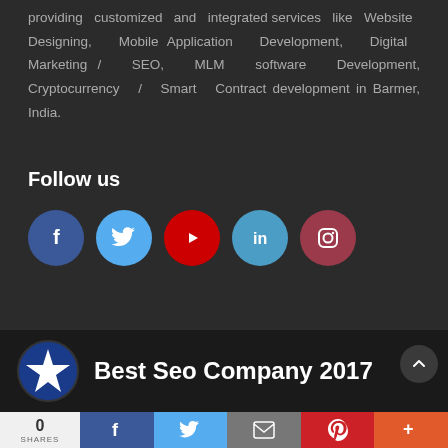providing customized and integrated services like Website Designing, Mobile Application Development, Digital Marketing / SEO, MLM software Development, Cryptocurrency / Smart Contract development in Barmer, India.
Follow us
[Figure (infographic): Row of 5 social media icon circles: Facebook (dark blue), Twitter (light blue), YouTube (red), LinkedIn (light blue), Instagram (dark red/maroon)]
[Figure (logo): Blue circle with white star badge icon]
Best Seo Company 2017
[Figure (infographic): Share bar at bottom with count 0 SHARES, Facebook, Twitter, mail, Pinterest, and more buttons]